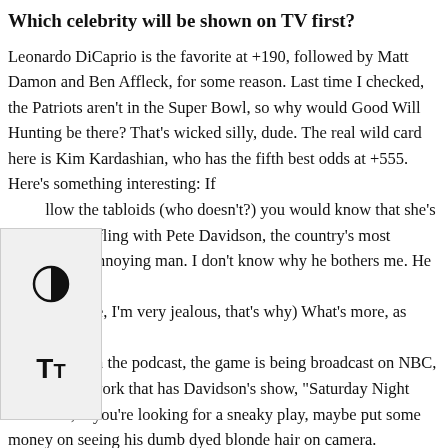Which celebrity will be shown on TV first?
Leonardo DiCaprio is the favorite at +190, followed by Matt Damon and Ben Affleck, for some reason. Last time I checked, the Patriots aren't in the Super Bowl, so why would Good Will Hunting be there? That's wicked silly, dude. The real wild card here is Kim Kardashian, who has the fifth best odds at +555. Here's something interesting: If you follow the tabloids (who doesn't?) you would know that she's having a fling with Pete Davidson, the country's most inexplicably annoying man. I don't know why he bothers me. He just does. (Total lie, I'm very jealous, that's why) What's more, as Chris pointed out on the podcast, the game is being broadcast on NBC, the same network that has Davidson's show, "Saturday Night Live." So, if you're looking for a sneaky play, maybe put some money on seeing his dumb dyed blonde hair on camera.
Here's another interesting one: How many Super Bowl commercials